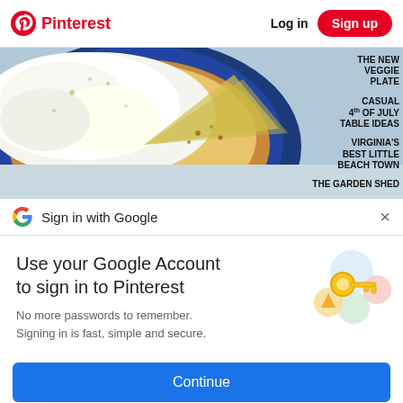Pinterest  Log in  Sign up
[Figure (photo): Close-up photo of a key lime pie with whipped cream topping on a blue plate, with magazine text overlaid on the right side reading: THE NEW VEGGIE PLATE, CASUAL 4th OF JULY TABLE IDEAS, VIRGINIA'S BEST LITTLE BEACH TOWN, THE GARDEN SHED]
Sign in with Google
Use your Google Account to sign in to Pinterest
No more passwords to remember. Signing in is fast, simple and secure.
[Figure (illustration): Google account key illustration with colorful circles and a gold key icon]
Continue